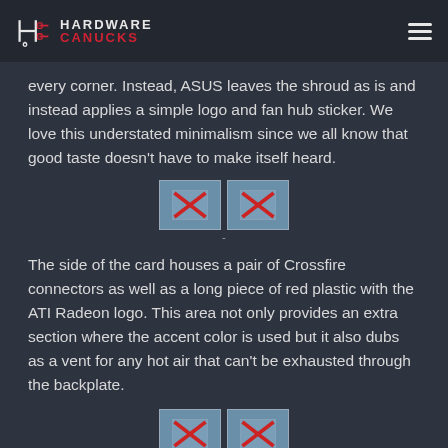Hardware Canucks
every corner. Instead, ASUS leaves the shroud as is and instead applies a simple logo and fan hub sticker. We love this understated minimalism since we all know that good taste doesn’t have to make itself heard.
[Figure (photo): Two broken image placeholders side by side]
The side of the card houses a pair of Crossfire connectors as well as a long piece of red plastic with the ATI Radeon logo. This area not only provides an extra section where the accent color is used but it also dubs as a vent for any hot air that can’t be exhausted through the backplate.
[Figure (photo): Two broken image placeholders side by side]